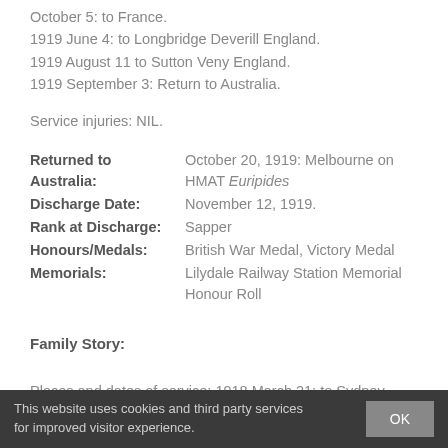October 5: to France.
1919 June 4: to Longbridge Deverill England.
1919 August 11 to Sutton Veny England.
1919 September 3: Return to Australia.
Service injuries: NIL.
| Field | Value |
| --- | --- |
| Returned to Australia: | October 20, 1919: Melbourne on HMAT Euripides |
| Discharge Date: | November 12, 1919. |
| Rank at Discharge: | Sapper |
| Honours/Medals: | British War Medal, Victory Medal |
| Memorials: | Lilydale Railway Station Memorial Honour Roll |
Family Story:
Places and dates of service: 1918 March 21: to Sydney
This website uses cookies and third party services for improved visitor experience.